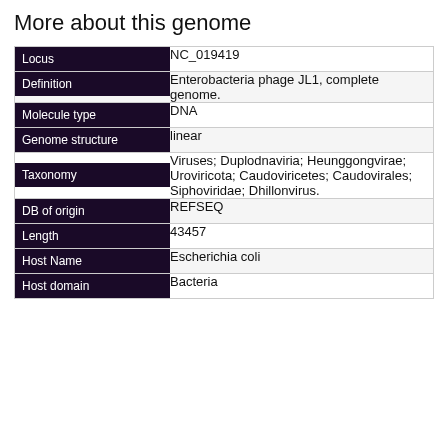More about this genome
| Field | Value |
| --- | --- |
| Locus | NC_019419 |
| Definition | Enterobacteria phage JL1, complete genome. |
| Molecule type | DNA |
| Genome structure | linear |
| Taxonomy | Viruses; Duplodnaviria; Heunggongvirae; Uroviricota; Caudoviricetes; Caudovirales; Siphoviridae; Dhillonvirus. |
| DB of origin | REFSEQ |
| Length | 43457 |
| Host Name | Escherichia coli |
| Host domain | Bacteria |